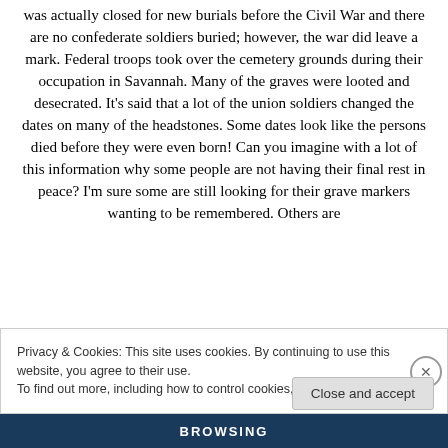was actually closed for new burials before the Civil War and there are no confederate soldiers buried; however, the war did leave a mark. Federal troops took over the cemetery grounds during their occupation in Savannah. Many of the graves were looted and desecrated. It's said that a lot of the union soldiers changed the dates on many of the headstones. Some dates look like the persons died before they were even born! Can you imagine with a lot of this information why some people are not having their final rest in peace? I'm sure some are still looking for their grave markers wanting to be remembered. Others are
Privacy & Cookies: This site uses cookies. By continuing to use this website, you agree to their use.
To find out more, including how to control cookies, see here: Cookie Policy